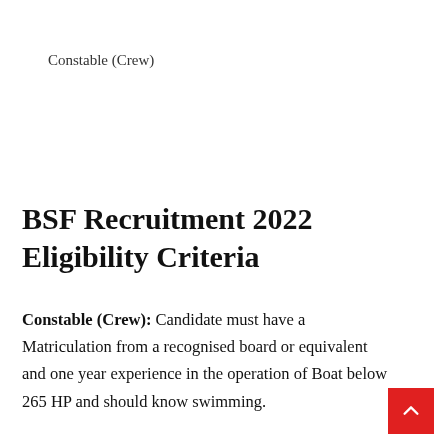Constable (Crew)
BSF Recruitment 2022 Eligibility Criteria
Constable (Crew): Candidate must have a Matriculation from a recognised board or equivalent and one year experience in the operation of Boat below 265 HP and should know swimming.